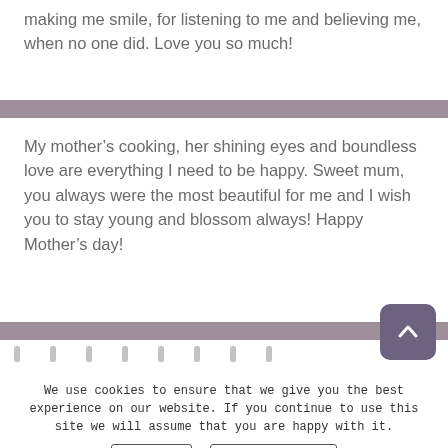making me smile, for listening to me and believing me, when no one did. Love you so much!
My mother's cooking, her shining eyes and boundless love are everything I need to be happy. Sweet mum, you always were the most beautiful for me and I wish you to stay young and blossom always! Happy Mother's day!
We use cookies to ensure that we give you the best experience on our website. If you continue to use this site we will assume that you are happy with it.